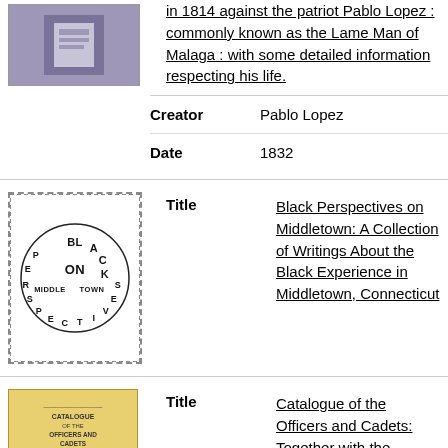[Figure (illustration): Book cover thumbnail - gray/purple cover with white label]
in 1814 against the patriot Pablo Lopez : commonly known as the Lame Man of Malaga : with some detailed information respecting his life.
| Creator | Pablo Lopez |
| Date | 1832 |
[Figure (illustration): Book cover thumbnail - Black Perspectives on Middletown with circular text design]
| Title | Black Perspectives on Middletown: A Collection of Writings About the Black Experience in Middletown, Connecticut |
[Figure (illustration): Book cover thumbnail - yellow/tan cover]
| Title | Catalogue of the Officers and Cadets: Together with the Prospectus and Internal |